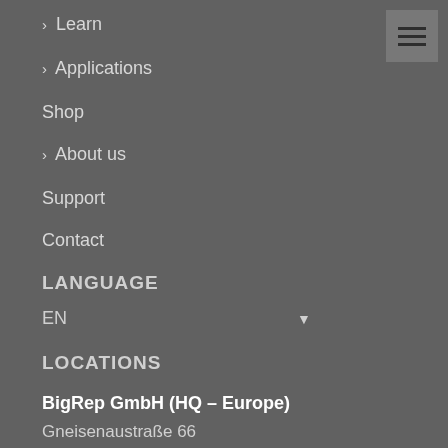> Learn
> Applications
Shop
> About us
Support
Contact
LANGUAGE
EN ▼
LOCATIONS
BigRep GmbH (HQ – Europe)
Gneisenaustraße 66
10961 Berlin